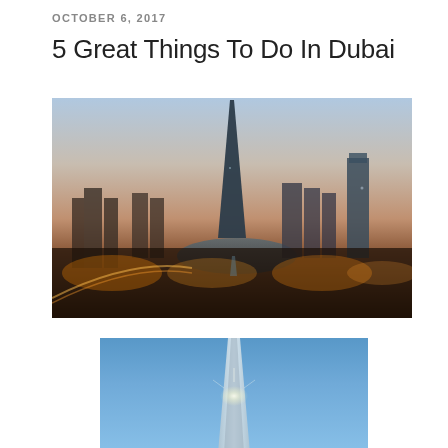OCTOBER 6, 2017
5 Great Things To Do In Dubai
[Figure (photo): Aerial panoramic view of Dubai skyline at dusk showing the Burj Khalifa tower prominently in the center with city lights, curved roads, and other skyscrapers]
[Figure (photo): Close-up view of the Burj Khalifa tower against a clear blue sky, showing the tapered spire with a bright light reflection near the midpoint]